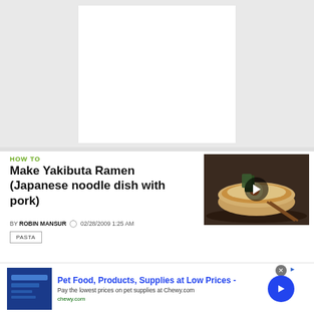[Figure (other): White rectangle banner area on gray background at top of page]
HOW TO
Make Yakibuta Ramen (Japanese noodle dish with pork)
[Figure (photo): Thumbnail image of a bowl of ramen with egg, noodles and toppings, with a play button overlay]
BY ROBIN MANSUR   02/28/2009 1:25 AM
PASTA
Teaser text partially visible at bottom
[Figure (other): Advertisement banner for Chewy.com Pet Food, Products, Supplies at Low Prices]